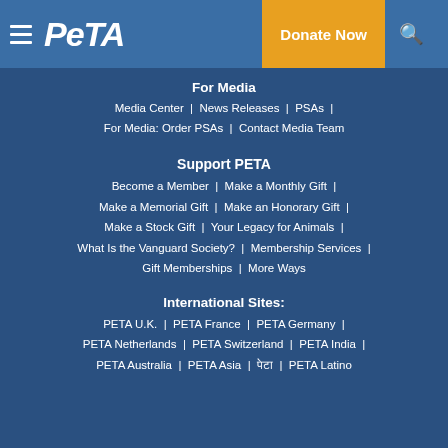PETA — Donate Now
For Media
Media Center | News Releases | PSAs | For Media: Order PSAs | Contact Media Team
Support PETA
Become a Member | Make a Monthly Gift | Make a Memorial Gift | Make an Honorary Gift | Make a Stock Gift | Your Legacy for Animals | What Is the Vanguard Society? | Membership Services | Gift Memberships | More Ways
International Sites:
PETA U.K. | PETA France | PETA Germany | PETA Netherlands | PETA Switzerland | PETA India | PETA Australia | PETA Asia | पेटा | PETA Latino